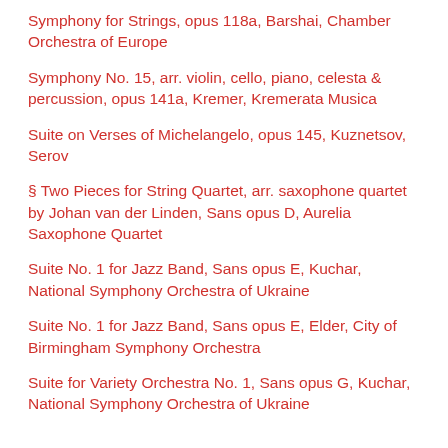Symphony for Strings, opus 118a, Barshai, Chamber Orchestra of Europe
Symphony No. 15, arr. violin, cello, piano, celesta & percussion, opus 141a, Kremer, Kremerata Musica
Suite on Verses of Michelangelo, opus 145, Kuznetsov, Serov
§ Two Pieces for String Quartet, arr. saxophone quartet by Johan van der Linden, Sans opus D, Aurelia Saxophone Quartet
Suite No. 1 for Jazz Band, Sans opus E, Kuchar, National Symphony Orchestra of Ukraine
Suite No. 1 for Jazz Band, Sans opus E, Elder, City of Birmingham Symphony Orchestra
Suite for Variety Orchestra No. 1, Sans opus G, Kuchar, National Symphony Orchestra of Ukraine